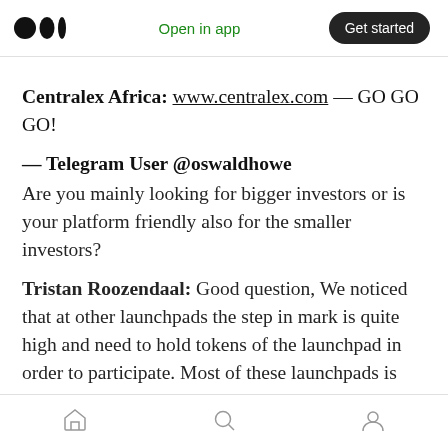Medium logo | Open in app | Get started
Centralex Africa: www.centralex.com — GO GO GO!
— Telegram User @oswaldhowe
Are you mainly looking for bigger investors or is your platform friendly also for the smaller investors?
Tristan Roozendaal: Good question, We noticed that at other launchpads the step in mark is quite high and need to hold tokens of the launchpad in order to participate. Most of these launchpads is attractive for people with deep
Home | Search | Profile